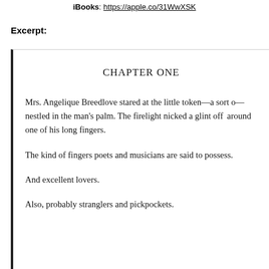iBooks: https://apple.co/31WwXSK
Excerpt:
CHAPTER ONE
Mrs. Angelique Breedlove stared at the little token—a sort of—nestled in the man's palm. The firelight nicked a glint off around one of his long fingers.
The kind of fingers poets and musicians are said to possess.
And excellent lovers.
Also, probably stranglers and pickpockets.